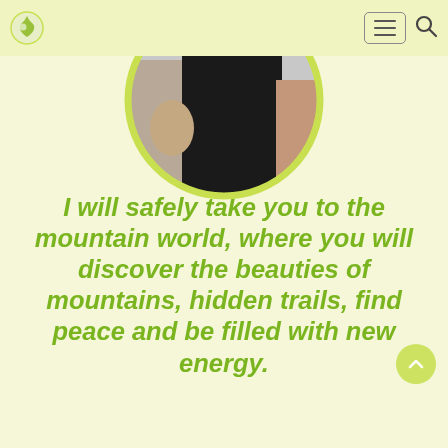Navigation header with logo, hamburger menu, and search icon
[Figure (photo): Circular profile photo of a person wearing a black t-shirt, framed by a yellow-green circular border]
I will safely take you to the mountain world, where you will discover the beauties of mountains, hidden trails, find peace and be filled with new energy.